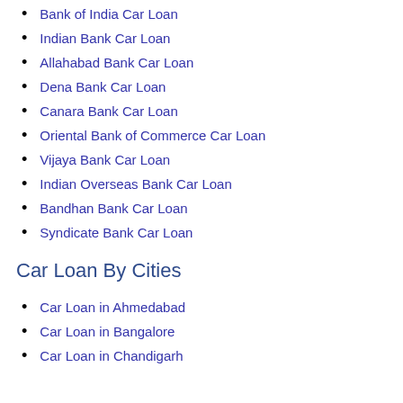Bank of India Car Loan
Indian Bank Car Loan
Allahabad Bank Car Loan
Dena Bank Car Loan
Canara Bank Car Loan
Oriental Bank of Commerce Car Loan
Vijaya Bank Car Loan
Indian Overseas Bank Car Loan
Bandhan Bank Car Loan
Syndicate Bank Car Loan
Car Loan By Cities
Car Loan in Ahmedabad
Car Loan in Bangalore
Car Loan in Chandigarh